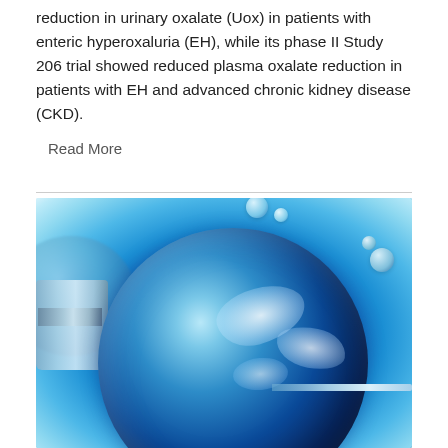reduction in urinary oxalate (Uox) in patients with enteric hyperoxaluria (EH), while its phase II Study 206 trial showed reduced plasma oxalate reduction in patients with EH and advanced chronic kidney disease (CKD).
Read More
[Figure (photo): Close-up photograph of a translucent blue cell or embryo being manipulated with a pipette/needle, with smaller bubbles around it, against a bright blue aqueous background.]